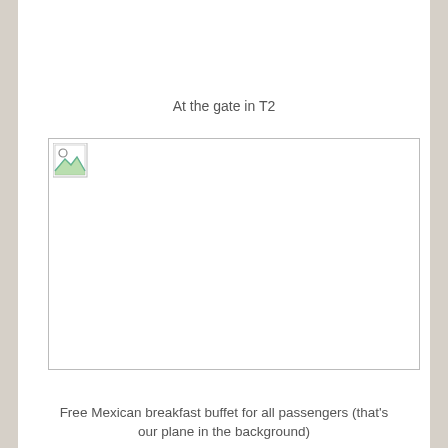At the gate in T2
[Figure (photo): A broken/missing image placeholder showing a small image icon in the top-left corner with a thin border rectangle.]
Free Mexican breakfast buffet for all passengers (that's our plane in the background)